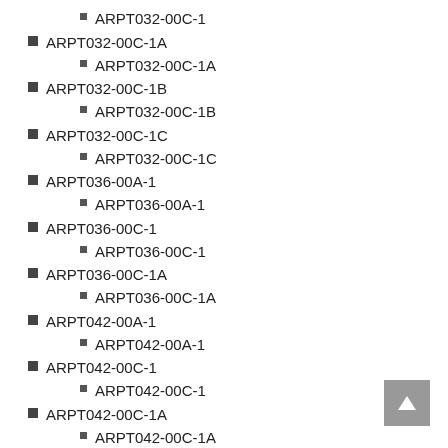ARPT032-00C-1 (sub-item)
ARPT032-00C-1A
ARPT032-00C-1A (sub-item)
ARPT032-00C-1B
ARPT032-00C-1B (sub-item)
ARPT032-00C-1C
ARPT032-00C-1C (sub-item)
ARPT036-00A-1
ARPT036-00A-1 (sub-item)
ARPT036-00C-1
ARPT036-00C-1 (sub-item)
ARPT036-00C-1A
ARPT036-00C-1A (sub-item)
ARPT042-00A-1
ARPT042-00A-1 (sub-item)
ARPT042-00C-1
ARPT042-00C-1 (sub-item)
ARPT042-00C-1A
ARPT042-00C-1A (sub-item)
ARPT042-00C-1B